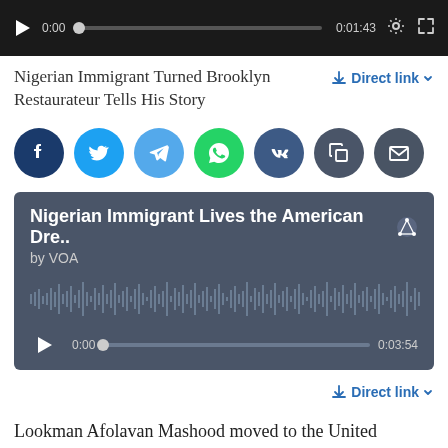[Figure (screenshot): Video player with dark background, play button, time 0:00 and 0:01:43, progress bar, gear and fullscreen icons]
Nigerian Immigrant Turned Brooklyn Restaurateur Tells His Story
[Figure (screenshot): Social sharing buttons row: Facebook, Twitter, Telegram, WhatsApp, VK, Copy, Email]
[Figure (screenshot): Audio player with title 'Nigerian Immigrant Lives the American Dre..' by VOA, waveform visualization, play button, time 0:00 and 0:03:54]
Direct link
Lookman Afolavan Mashood moved to the United